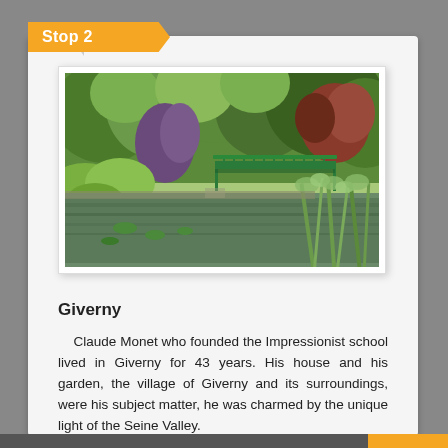Stop 2
[Figure (photo): Monet's garden in Giverny showing a green Japanese bridge over a lily pond, surrounded by lush green and colorful vegetation.]
Giverny
Claude Monet who founded the Impressionist school lived in Giverny for 43 years. His house and his garden, the village of Giverny and its surroundings, were his subject matter, he was charmed by the unique light of the Seine Valley.